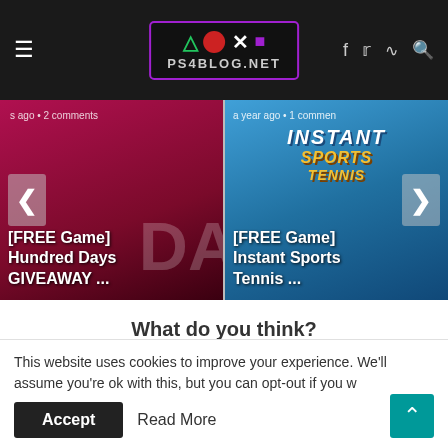ps4blog.net website header with logo and navigation icons
[Figure (screenshot): Slider showing two game cards: '[FREE Game] Hundred Days GIVEAWAY ...' and '[FREE Game] Instant Sports Tennis ...' with left and right navigation arrows]
What do you think?
0 Responses
[Figure (other): Row of reaction emojis: thumbs up, laughing face with tongue, heart eyes, surprised face, crying face]
This website uses cookies to improve your experience. We'll assume you're ok with this, but you can opt-out if you w
Accept
Read More